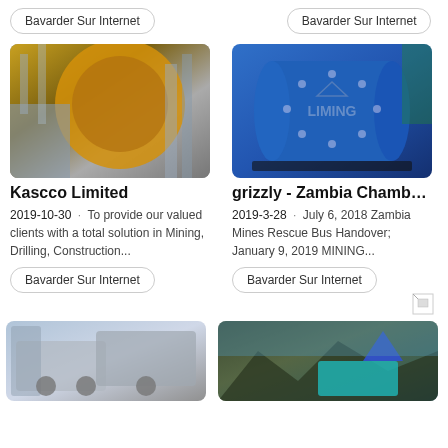Bavarder Sur Internet
Bavarder Sur Internet
[Figure (photo): Industrial ball mill machine with yellow rotating drum in a mining facility]
Kascco Limited
2019-10-30 · To provide our valued clients with a total solution in Mining, Drilling, Construction...
Bavarder Sur Internet
[Figure (photo): Blue Liming brand ball mill machine on outdoor ground]
grizzly - Zambia Chamber of ...
2019-3-28 · July 6, 2018 Zambia Mines Rescue Bus Handover; January 9, 2019 MINING...
Bavarder Sur Internet
[Figure (photo): Mobile crusher machine with excavator at a quarry site]
[Figure (photo): Teal mining equipment against rocky terrain with a blue tent structure]